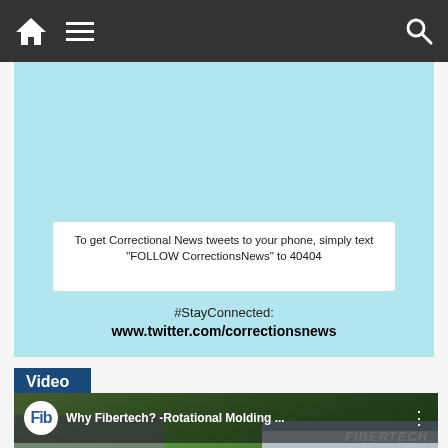Navigation bar with home, menu, and search icons
[Figure (screenshot): Twitter / Corrections News promotional image with light blue background showing phone text instruction: 'To get Correctional News tweets to your phone, simply text "FOLLOW CorrectionsNews" to 40404' and text '#StayConnected: www.twitter.com/correctionsnews']
Video
[Figure (screenshot): YouTube video thumbnail for 'Why Fibertech? -Rotational Molding ...' showing aerial view of Fibertech industrial building with glass tower, parking lot, and YouTube play button overlay]